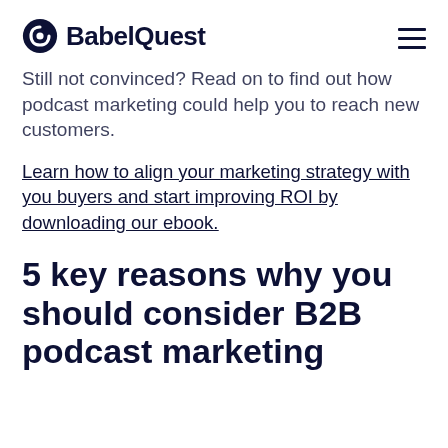BabelQuest
Still not convinced? Read on to find out how podcast marketing could help you to reach new customers.
Learn how to align your marketing strategy with you buyers and start improving ROI by downloading our ebook.
5 key reasons why you should consider B2B podcast marketing